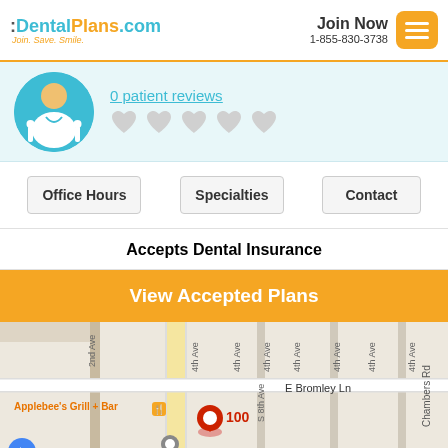DentalPlans.com Join. Save. Smile. | Join Now 1-855-830-3738
[Figure (illustration): Dental doctor avatar icon in teal circle with dental tools]
0 patient reviews
[Figure (infographic): Five empty/grey heart-shaped star rating icons]
Office Hours
Specialties
Contact
Accepts Dental Insurance
View Accepted Plans
[Figure (map): Google map showing location with red pin marker labeled 100, Applebee's Grill + Bar nearby, E Bromley Ln, S 8th Ave, Chambers Rd, Intertape Polymer Group label]